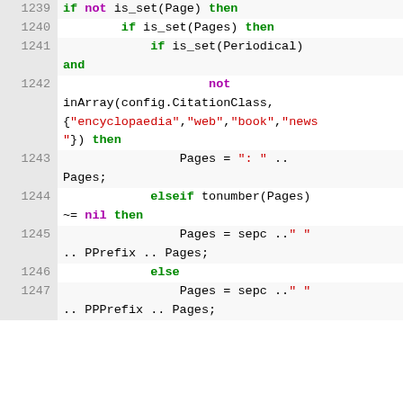[Figure (screenshot): Source code snippet showing lines 1239-1247 of a Lua/template script. Lines show conditional logic with if/elseif/else keywords (green bold), not/nil/then keywords (purple bold), string literals in red, and plain code in black. Background alternates light grey and white per line. Line numbers shown in grey gutter on left.]